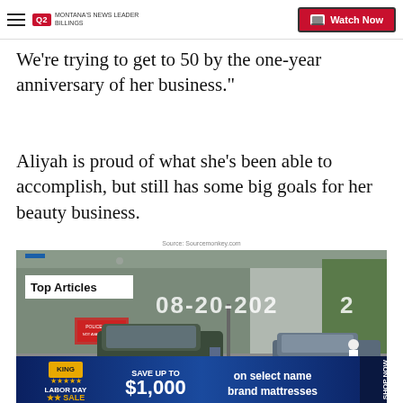Q2 MONTANA'S NEWS LEADER BILLINGS — Watch Now
We're trying to get to 50 by the one-year anniversary of her business."
Aliyah is proud of what she's been able to accomplish, but still has some big goals for her beauty business.
Source: Sourcemonkey.com
[Figure (screenshot): CCTV footage screenshot dated 08-20-2022 showing a parking lot/street scene with cars and a person walking. Overlay text shows 'Top Articles' label. Pause icon and next arrow visible. Bottom shows a Labor Day SALE advertisement for mattresses: SAVE UP TO $1,000 on select name brand mattresses.]